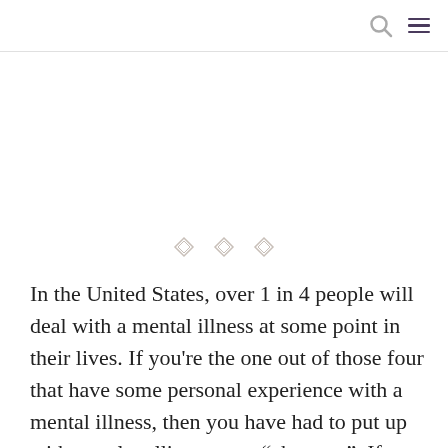[search icon] [menu icon]
[Figure (illustration): Three decorative diamond/lozenge ornament symbols used as a section divider]
In the United States, over 1 in 4 people will deal with a mental illness at some point in their lives. If you're the one out of those four that have some personal experience with a mental illness, then you have had to put up with people telling you to “cheer up”. If